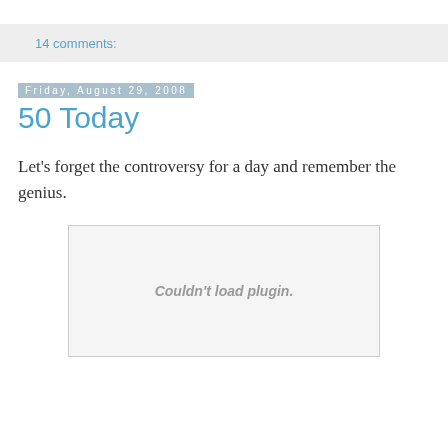14 comments:
Friday, August 29, 2008
50 Today
Let's forget the controversy for a day and remember the genius.
Couldn't load plugin.